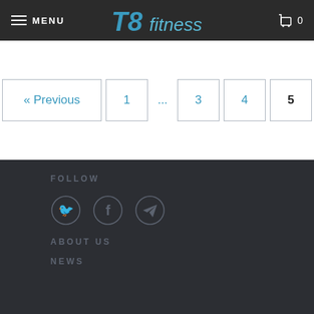T8 Fitness — MENU — Cart: 0
[Figure (screenshot): Pagination bar with « Previous, 1, ..., 3, 4, 5 buttons]
FOLLOW
[Figure (infographic): Three circular social media icons: Twitter (bird), Facebook (f), and Telegram (paper plane)]
ABOUT US
NEWS